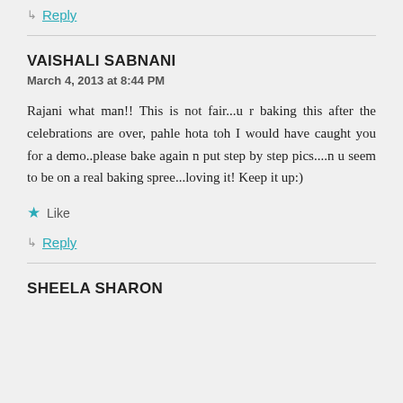↳ Reply
VAISHALI SABNANI
March 4, 2013 at 8:44 PM
Rajani what man!! This is not fair...u r baking this after the celebrations are over, pahle hota toh I would have caught you for a demo..please bake again n put step by step pics....n u seem to be on a real baking spree...loving it! Keep it up:)
★ Like
↳ Reply
SHEELA SHARON